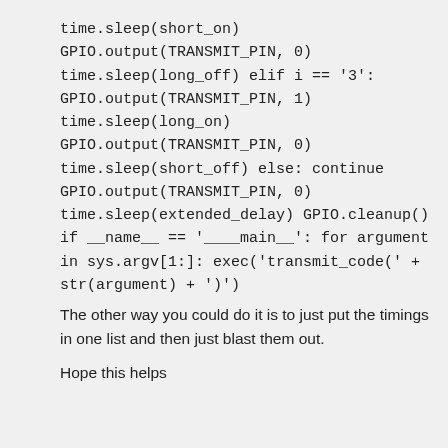time.sleep(short_on)
GPIO.output(TRANSMIT_PIN, 0)
time.sleep(long_off)
elif i == '3':
GPIO.output(TRANSMIT_PIN, 1)
time.sleep(long_on)
GPIO.output(TRANSMIT_PIN, 0)
time.sleep(short_off)
else:
continue
GPIO.output(TRANSMIT_PIN, 0)
time.sleep(extended_delay)
GPIO.cleanup()

if __name__ == '__main__':
for argument in sys.argv[1:]:
exec('transmit_code(' + str(argument) + ')')
The other way you could do it is to just put the timings in one list and then just blast them out.
Hope this helps